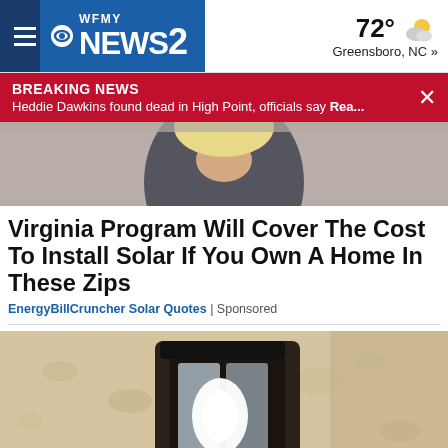WFMY NEWS 2 — 72° Greensboro, NC »
BREAKING NEWS — Heddie Dawkins found dead in High Point, officials say Rea...
[Figure (photo): Partial view of a person in a dark outfit, top image crop]
Virginia Program Will Cover The Cost To Install Solar If You Own A Home In These Zips
EnergyBillCruncher Solar Quotes | Sponsored
[Figure (photo): Close-up of an outdoor wall-mounted lantern light fixture with a bright bulb, on a textured stucco wall]